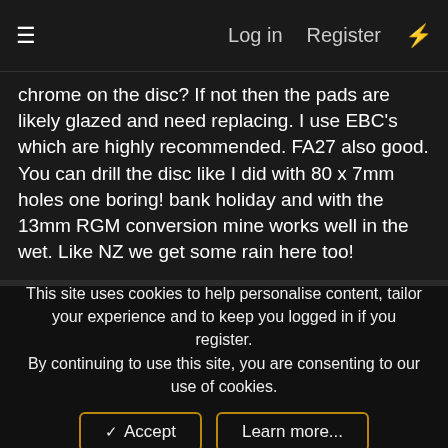≡  Log in  Register  ⚡
chrome on the disc? If not then the pads are likely glazed and need replacing. I use EBC's which are highly recommended. FA27 also good. You can drill the disc like I did with 80 x 7mm holes one boring! bank holiday and with the 13mm RGM conversion mine works well in the wet. Like NZ we get some rain here too!
I don't think it makes much difference to braking but with 20 x 13mm holes in the centre as well it took 3/4lb off the disc and makes a nice zizzing noise in the dry.
This site uses cookies to help personalise content, tailor your experience and to keep you logged in if you register.
By continuing to use this site, you are consenting to our use of cookies.